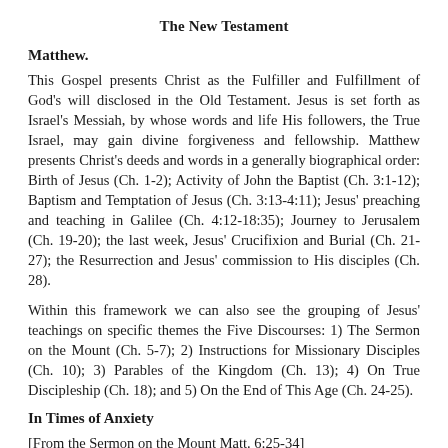The New Testament
Matthew.
This Gospel presents Christ as the Fulfiller and Fulfillment of God's will disclosed in the Old Testament. Jesus is set forth as Israel's Messiah, by whose words and life His followers, the True Israel, may gain divine forgiveness and fellowship. Matthew presents Christ's deeds and words in a generally biographical order: Birth of Jesus (Ch. 1-2); Activity of John the Baptist (Ch. 3:1-12); Baptism and Temptation of Jesus (Ch. 3:13-4:11); Jesus' preaching and teaching in Galilee (Ch. 4:12-18:35); Journey to Jerusalem (Ch. 19-20); the last week, Jesus' Crucifixion and Burial (Ch. 21-27); the Resurrection and Jesus' commission to His disciples (Ch. 28).
Within this framework we can also see the grouping of Jesus' teachings on specific themes the Five Discourses: 1) The Sermon on the Mount (Ch. 5-7); 2) Instructions for Missionary Disciples (Ch. 10); 3) Parables of the Kingdom (Ch. 13); 4) On True Discipleship (Ch. 18); and 5) On the End of This Age (Ch. 24-25).
In Times of Anxiety
[From the Sermon on the Mount Matt. 6:25-34]
I tell you, do not be anxious about your fife, what you shall eat or what you shall